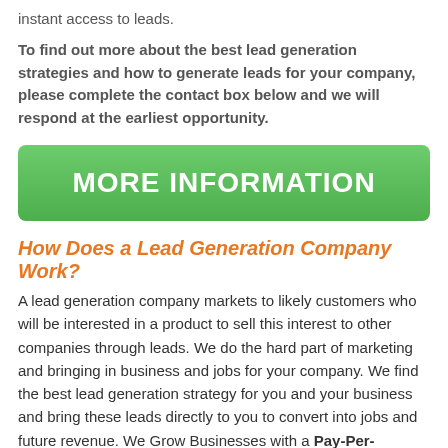instant access to leads.
To find out more about the best lead generation strategies and how to generate leads for your company, please complete the contact box below and we will respond at the earliest opportunity.
[Figure (other): Green button with white bold text reading MORE INFORMATION]
How Does a Lead Generation Company Work?
A lead generation company markets to likely customers who will be interested in a product to sell this interest to other companies through leads. We do the hard part of marketing and bringing in business and jobs for your company. We find the best lead generation strategy for you and your business and bring these leads directly to you to convert into jobs and future revenue. We Grow Businesses with a Pay-Per-Performance Model. Businesses grow, we get paid and everyone wins!
Online Business Leads in Cae'r-bryn